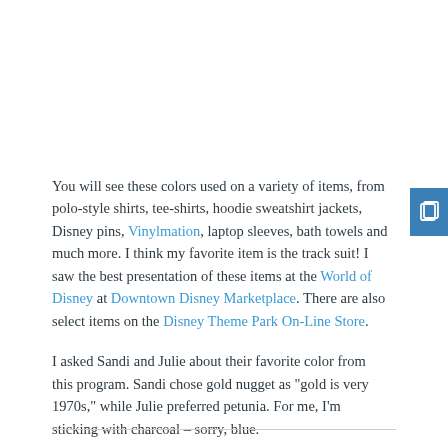You will see these colors used on a variety of items, from polo-style shirts, tee-shirts, hoodie sweatshirt jackets, Disney pins, Vinylmation, laptop sleeves, bath towels and much more. I think my favorite item is the track suit! I saw the best presentation of these items at the World of Disney at Downtown Disney Marketplace. There are also select items on the Disney Theme Park On-Line Store.
I asked Sandi and Julie about their favorite color from this program. Sandi chose gold nugget as "gold is very 1970s," while Julie preferred petunia. For me, I'm sticking with charcoal – sorry, blue.